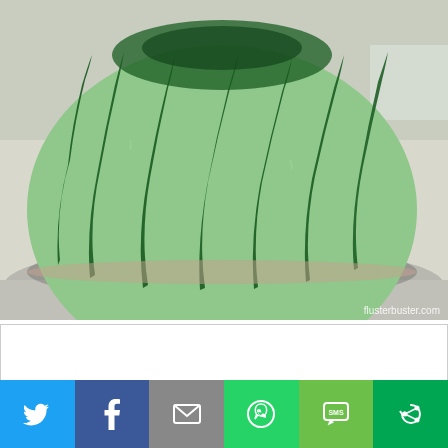[Figure (photo): A dome-shaped watermelon sherbet cake with light green frosting and dark green stripe decorations, sitting on a white surface with a light background. Watermark reads flusterbuster.com]
Sherbet Watermelon
Category: Cakes & Candies
Serves: 8-10
[Figure (infographic): Social share bar with buttons: Twitter (blue), Facebook (dark blue), Email/Mail (gray), WhatsApp (green), SMS (light green), More (dark green)]